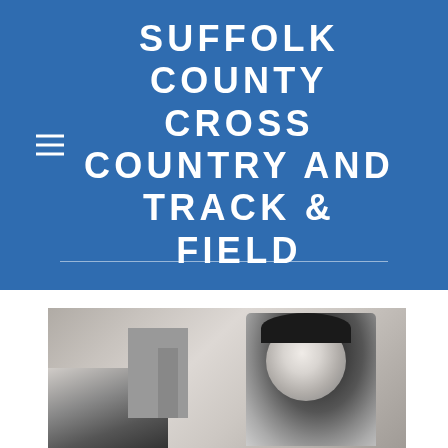SUFFOLK COUNTY CROSS COUNTRY AND TRACK & FIELD
[Figure (photo): Black and white photograph showing a person (athlete or official) in the foreground on the right, with an arm/hand visible on the left side and background structures visible in the middle distance.]